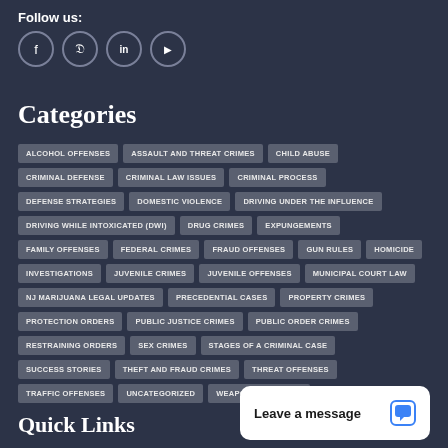Follow us:
[Figure (illustration): Social media icons: Facebook, Twitter, LinkedIn, YouTube in circular bordered buttons]
Categories
ALCOHOL OFFENSES
ASSAULT AND THREAT CRIMES
CHILD ABUSE
CRIMINAL DEFENSE
CRIMINAL LAW ISSUES
CRIMINAL PROCESS
DEFENSE STRATEGIES
DOMESTIC VIOLENCE
DRIVING UNDER THE INFLUENCE
DRIVING WHILE INTOXICATED (DWI)
DRUG CRIMES
EXPUNGEMENTS
FAMILY OFFENSES
FEDERAL CRIMES
FRAUD OFFENSES
GUN RULES
HOMICIDE
INVESTIGATIONS
JUVENILE CRIMES
JUVENILE OFFENSES
MUNICIPAL COURT LAW
NJ MARIJUANA LEGAL UPDATES
PRECEDENTIAL CASES
PROPERTY CRIMES
PROTECTION ORDERS
PUBLIC JUSTICE CRIMES
PUBLIC ORDER CRIMES
RESTRAINING ORDERS
SEX CRIMES
STAGES OF A CRIMINAL CASE
SUCCESS STORIES
THEFT AND FRAUD CRIMES
THREAT OFFENSES
TRAFFIC OFFENSES
UNCATEGORIZED
WEAPONS OFFENSES
Quick Links
Leave a message